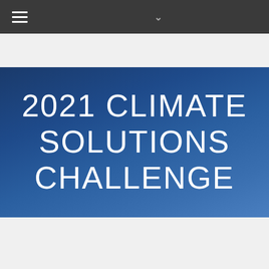Navigation bar with hamburger menu and chevron
2021 CLIMATE SOLUTIONS CHALLENGE
Homepage > 2021 Climate Solutions Challenge
Announcing the 2021 Climate Solutions Challenge at UVic